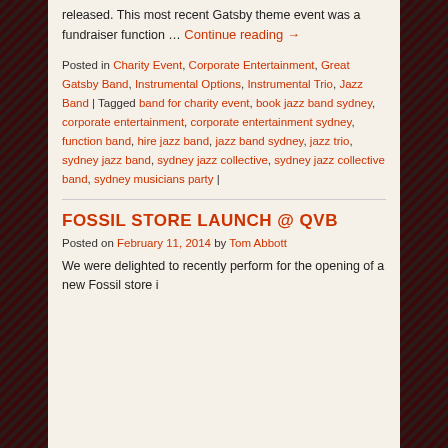released. This most recent Gatsby theme event was a fundraiser function … Continue reading →
Posted in Charity Event, Corporate Entertainment, Great Gatsby Band, Instrumental Options, Instrumental Trio, Jazz Band | Tagged band for charity event, book jazz band sydney, corporate entertainment, corporate entertainment sydney, function band, hire jazz band, jazz band sydney, jazz trio, sydney jazz band, sydney jazz collective, sydney jazz collective band, sydney musicians party |
FOSSIL STORE LAUNCH @ QVB
Posted on February 11, 2014 by Tom Abbott
We were delighted to recently perform for the opening of a new Fossil store i